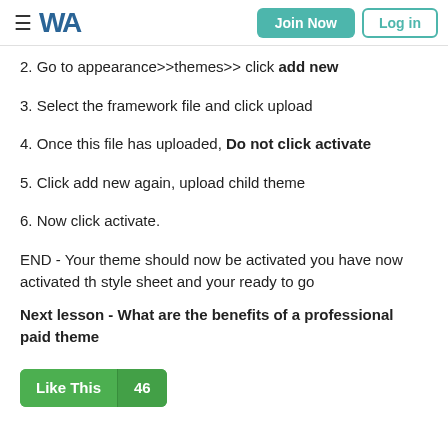WA | Join Now | Log in
2. Go to appearance>>themes>> click add new
3. Select the framework file and click upload
4. Once this file has uploaded, Do not click activate
5. Click add new again, upload child theme
6. Now click activate.
END - Your theme should now be activated you have now activated the style sheet and your ready to go
Next lesson - What are the benefits of a professional paid theme